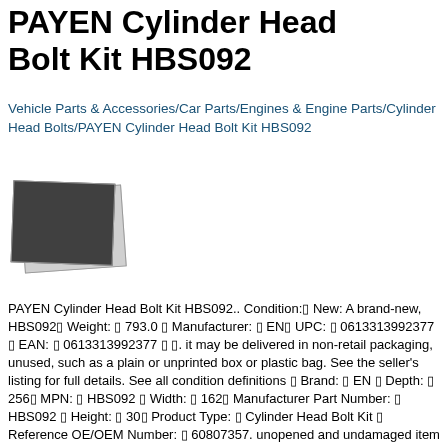PAYEN Cylinder Head Bolt Kit HBS092
Vehicle Parts & Accessories/Car Parts/Engines & Engine Parts/Cylinder Head Bolts/PAYEN Cylinder Head Bolt Kit HBS092
[Figure (photo): Two overlapping photograph thumbnails of a product, shown as stacked image placeholders]
PAYEN Cylinder Head Bolt Kit HBS092.. Condition:▯ New: A brand-new, HBS092▯ Weight: ▯ 793.0 ▯ Manufacturer: ▯ EN▯ UPC: ▯ 0613313992377 ▯ EAN: ▯ 0613313992377 ▯ ▯. it may be delivered in non-retail packaging, unused, such as a plain or unprinted box or plastic bag. See the seller's listing for full details. See all condition definitions ▯ Brand: ▯ EN ▯ Depth: ▯ 256▯ MPN: ▯ HBS092 ▯ Width: ▯ 162▯ Manufacturer Part Number: ▯ HBS092 ▯ Height: ▯ 30▯ Product Type: ▯ Cylinder Head Bolt Kit ▯ Reference OE/OEM Number: ▯ 60807357. unopened and undamaged item in original retail packaging (where packaging is